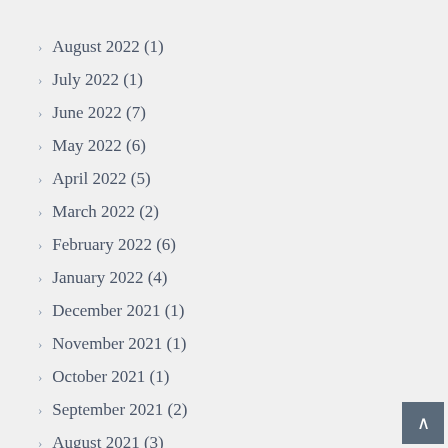August 2022 (1)
July 2022 (1)
June 2022 (7)
May 2022 (6)
April 2022 (5)
March 2022 (2)
February 2022 (6)
January 2022 (4)
December 2021 (1)
November 2021 (1)
October 2021 (1)
September 2021 (2)
August 2021 (3)